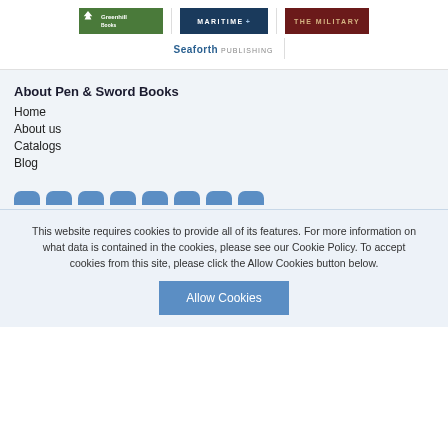[Figure (logo): Greenhill Books logo - green background with tree icon]
[Figure (logo): Maritime Books logo - dark blue background]
[Figure (logo): Military Books logo - dark red background with gold text]
[Figure (logo): Seaforth Publishing logo]
About Pen & Sword Books
Home
About us
Catalogs
Blog
This website requires cookies to provide all of its features. For more information on what data is contained in the cookies, please see our Cookie Policy. To accept cookies from this site, please click the Allow Cookies button below.